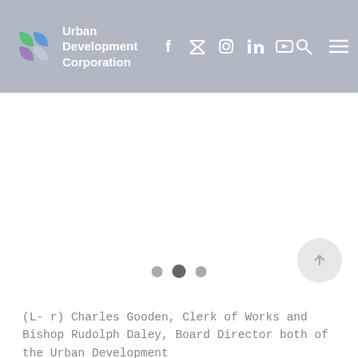Urban Development Corporation — navigation header with logo and social media icons (Facebook, Twitter, Instagram, LinkedIn, YouTube), search and menu buttons
[Figure (photo): Large image carousel area (image not loaded / blank white area) with three pagination dots at the bottom center and a scroll-to-top arrow button at bottom right]
(L- r) Charles Gooden, Clerk of Works and Bishop Rudolph Daley, Board Director both of the Urban Development
We use cookies on our website to give you the most